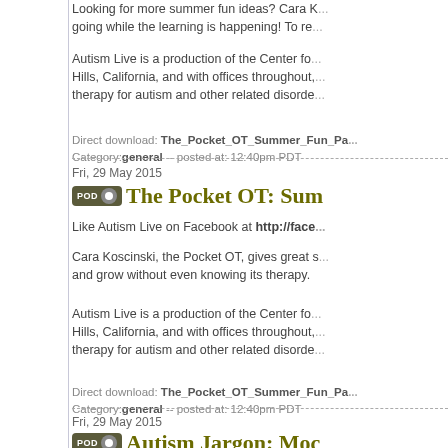Looking for more summer fun ideas? Cara K... going while the learning is happening! To re...
Autism Live is a production of the Center fo... Hills, California, and with offices throughout, therapy for autism and other related disorde...
Direct download: The_Pocket_OT_Summer_Fun_Pa... Category: general -- posted at: 12:40pm PDT
Fri, 29 May 2015
The Pocket OT: Sum...
Like Autism Live on Facebook at http://face...
Cara Koscinski, the Pocket OT, gives great s... and grow without even knowing its therapy.
Autism Live is a production of the Center fo... Hills, California, and with offices throughout, therapy for autism and other related disorde...
Direct download: The_Pocket_OT_Summer_Fun_Pa... Category: general -- posted at: 12:40pm PDT
Fri, 29 May 2015
Autism Jargon: Moc...